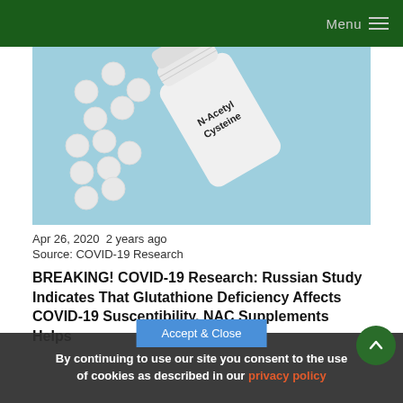Menu
[Figure (photo): A white bottle of N-Acetyl Cysteine supplement lying on its side on a light blue background, with several white tablets scattered around it.]
Apr 26, 2020  2 years ago
Source: COVID-19 Research
BREAKING! COVID-19 Research: Russian Study Indicates That Glutathione Deficiency Affects COVID-19 Susceptibility, NAC Supplements Helps
By continuing to use our site you consent to the use of cookies as described in our privacy policy